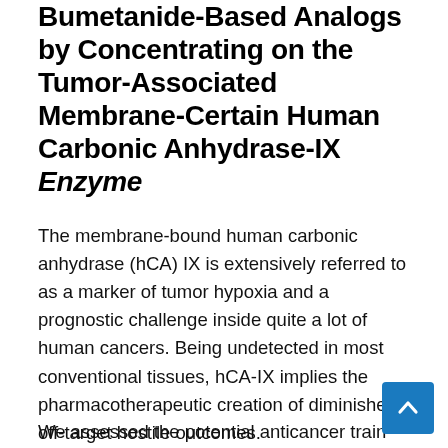Bumetanide-Based Analogs by Concentrating on the Tumor-Associated Membrane-Certain Human Carbonic Anhydrase-IX Enzyme
The membrane-bound human carbonic anhydrase (hCA) IX is extensively referred to as a marker of tumor hypoxia and a prognostic challenge inside quite a lot of human cancers. Being undetected in most conventional tissues, hCA-IX implies the pharmacotherapeutic creation of diminished off-target hostile outcomes.
We assessed the potential anticancer train